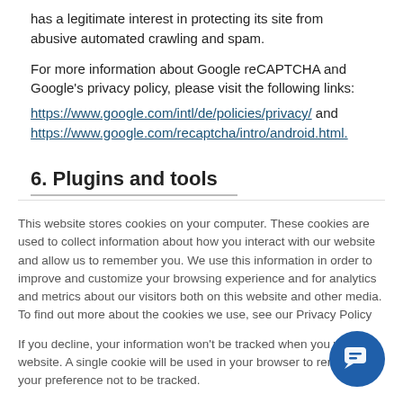has a legitimate interest in protecting its site from abusive automated crawling and spam.
For more information about Google reCAPTCHA and Google's privacy policy, please visit the following links: https://www.google.com/intl/de/policies/privacy/ and https://www.google.com/recaptcha/intro/android.html.
6. Plugins and tools
This website stores cookies on your computer. These cookies are used to collect information about how you interact with our website and allow us to remember you. We use this information in order to improve and customize your browsing experience and for analytics and metrics about our visitors both on this website and other media. To find out more about the cookies we use, see our Privacy Policy
If you decline, your information won't be tracked when you visit this website. A single cookie will be used in your browser to remember your preference not to be tracked.